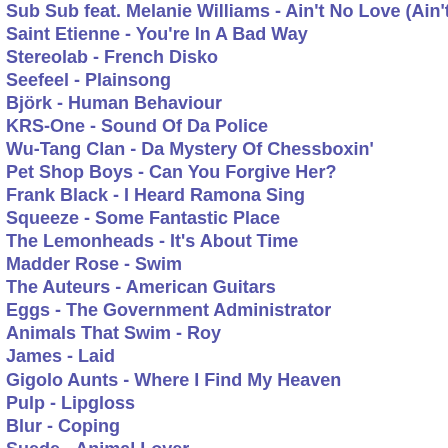Sub Sub feat. Melanie Williams - Ain't No Love (Ain't No Use)
Saint Etienne - You're In A Bad Way
Stereolab - French Disko
Seefeel - Plainsong
Björk - Human Behaviour
KRS-One - Sound Of Da Police
Wu-Tang Clan - Da Mystery Of Chessboxin'
Pet Shop Boys - Can You Forgive Her?
Frank Black - I Heard Ramona Sing
Squeeze - Some Fantastic Place
The Lemonheads - It's About Time
Madder Rose - Swim
The Auteurs - American Guitars
Eggs - The Government Administrator
Animals That Swim - Roy
James - Laid
Gigolo Aunts - Where I Find My Heaven
Pulp - Lipgloss
Blur - Coping
Suede - Animal Lover
David Bowie - Jump They Say
New Order - Regret
The Smashing Pumpkins - Cherub Rock